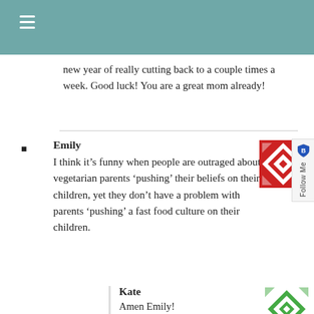new year of really cutting back to a couple times a week. Good luck! You are a great mom already!
Emily
I think it’s funny when people are outraged about vegetarian parents ‘pushing’ their beliefs on their children, yet they don’t have a problem with parents ‘pushing’ a fast food culture on their children.
Kate
Amen Emily!
Our world is too weird.